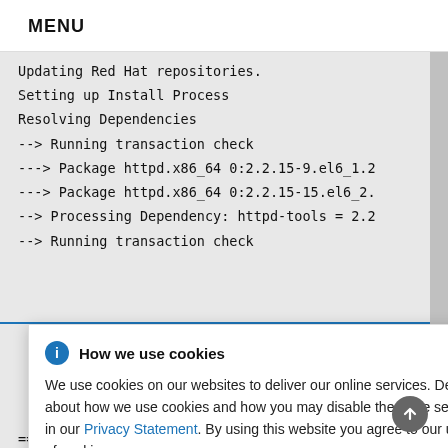MENU
Updating Red Hat repositories.
Setting up Install Process
Resolving Dependencies
--> Running transaction check
---> Package httpd.x86_64 0:2.2.15-9.el6_1.2
---> Package httpd.x86_64 0:2.2.15-15.el6_2.
--> Processing Dependency: httpd-tools = 2.2
--> Running transaction check
How we use cookies

We use cookies on our websites to deliver our online services. Details about how we use cookies and how you may disable them are set out in our Privacy Statement. By using this website you agree to our use of cookies.